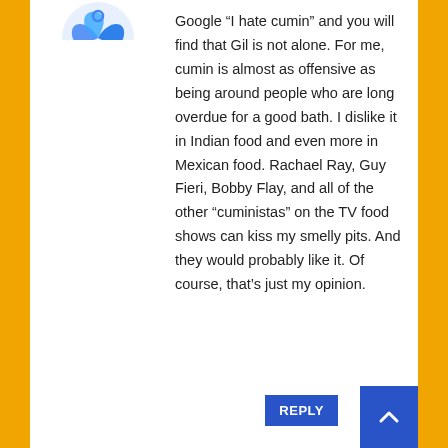[Figure (logo): Circular avatar/logo with blue swirl design, partially visible at top-left of comment card]
Google “I hate cumin” and you will find that Gil is not alone. For me, cumin is almost as offensive as being around people who are long overdue for a good bath. I dislike it in Indian food and even more in Mexican food. Rachael Ray, Guy Fieri, Bobby Flay, and all of the other “cuministas” on the TV food shows can kiss my smelly pits. And they would probably like it. Of course, that’s just my opinion.